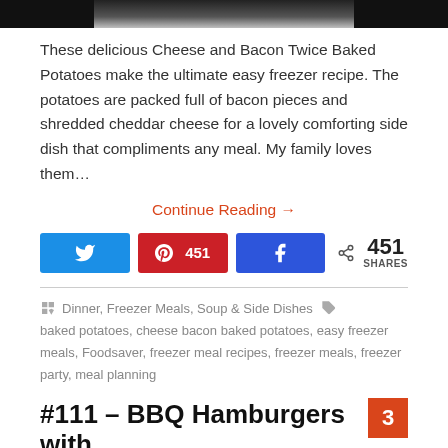[Figure (photo): Top portion of a food photo showing cheese and bacon twice baked potatoes]
These delicious Cheese and Bacon Twice Baked Potatoes make the ultimate easy freezer recipe. The potatoes are packed full of bacon pieces and shredded cheddar cheese for a lovely comforting side dish that compliments any meal. My family loves them…
Continue Reading →
[Figure (infographic): Social share buttons: Twitter button (blue), Pinterest button with 451 count (red), Facebook button (blue), and share count showing 451 SHARES]
Dinner, Freezer Meals, Soup & Side Dishes  baked potatoes, cheese bacon baked potatoes, easy freezer meals, Foodsaver, freezer meal recipes, freezer meals, freezer party, meal planning
#111 – BBQ Hamburgers with